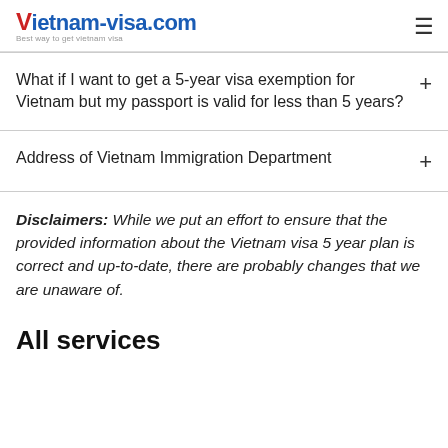vietnam-visa.com Best way to get vietnam visa
What if I want to get a 5-year visa exemption for Vietnam but my passport is valid for less than 5 years?
Address of Vietnam Immigration Department
Disclaimers: While we put an effort to ensure that the provided information about the Vietnam visa 5 year plan is correct and up-to-date, there are probably changes that we are unaware of.
All services